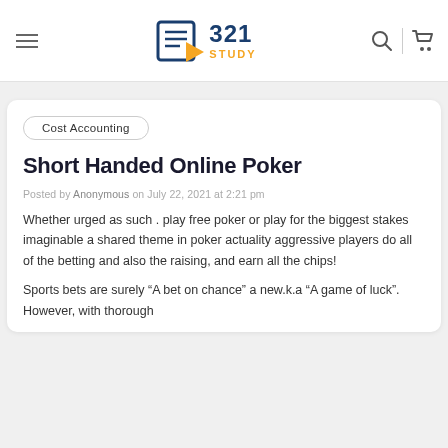321 STUDY
Cost Accounting
Short Handed Online Poker
Posted by Anonymous on July 22, 2021 at 2:21 pm
Whether urged as such . play free poker or play for the biggest stakes imaginable a shared theme in poker actuality aggressive players do all of the betting and also the raising, and earn all the chips!
Sports bets are surely “A bet on chance” a new.k.a “A game of luck”. However, with thorough